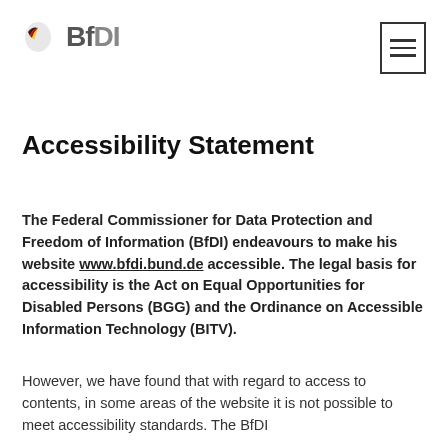BfDI
Accessibility Statement
The Federal Commissioner for Data Protection and Freedom of Information (BfDI) endeavours to make his website www.bfdi.bund.de accessible. The legal basis for accessibility is the Act on Equal Opportunities for Disabled Persons (BGG) and the Ordinance on Accessible Information Technology (BITV).
However, we have found that with regard to access to contents, in some areas of the website it is not possible to meet accessibility standards. The BfDI